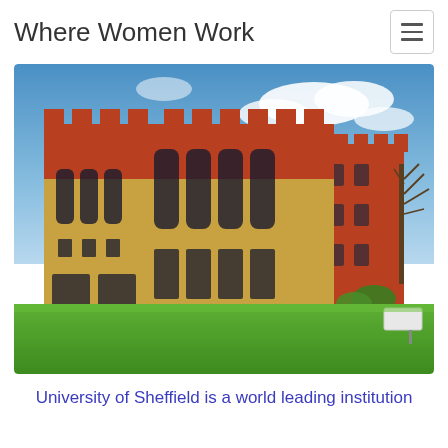Where Women Work
[Figure (photo): Exterior photograph of a grand Gothic-style university building with red brick upper sections and golden stone lower sections, multiple tall arched windows, crenellated towers, green lawn in foreground, blue sky with clouds in background — University of Sheffield campus building.]
University of Sheffield is a world leading institution